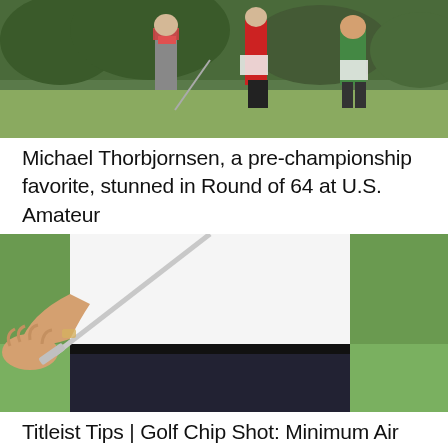[Figure (photo): Golfers walking on a golf course; one in grey pants with a colorful belt, another in a red outfit, and a third in a green shirt, carrying equipment and score cards]
Michael Thorbjornsen, a pre-championship favorite, stunned in Round of 64 at U.S. Amateur
[Figure (photo): Close-up of a person in a white shirt and dark pants demonstrating how to hold a golf iron club near the green, showing the underside of the club face and hand positioning]
Titleist Tips | Golf Chip Shot: Minimum Air Time,